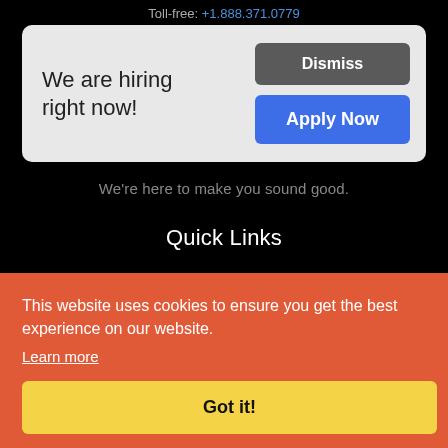Toll-free: +1.888.371.0779
We are hiring right now!
Dismiss
Apply Now
We're here to make you sound good.
Quick Links
This website uses cookies to ensure you get the best experience on our website.
Learn more
Got it!